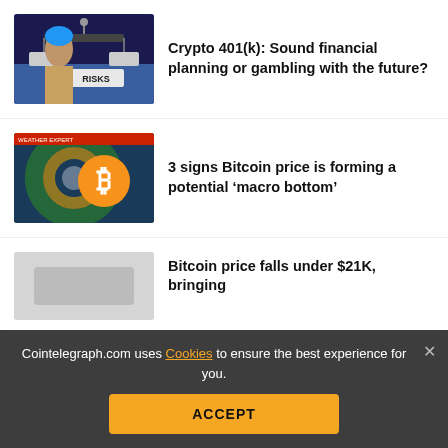[Figure (illustration): Thumbnail image of a woman with blue hair balancing scales labeled RISKS, article about Crypto 401(k)]
Crypto 401(k): Sound financial planning or gambling with the future?
[Figure (illustration): Thumbnail image of a hurricane storm with a large Bitcoin symbol overlay, article about Bitcoin macro bottom]
3 signs Bitcoin price is forming a potential ‘macro bottom’
[Figure (illustration): Partial thumbnail of a third article about Bitcoin price falling under $21K]
Bitcoin price falls under $21K, bringing...
[Figure (infographic): Social share bar with icons: Facebook, Twitter, Telegram, Reddit, LinkedIn, WhatsApp, Copy, Scroll-up]
Cointelegraph.com uses Cookies to ensure the best experience for you.
ACCEPT